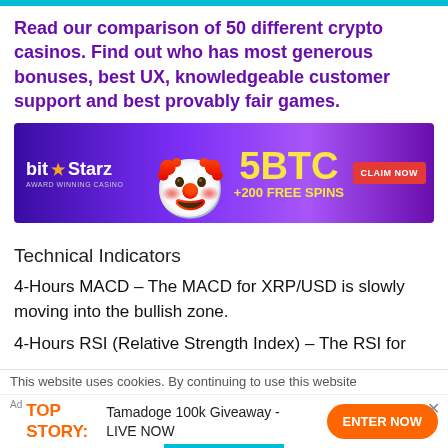Read our comparison of 50 different crypto casinos. Find out who has most generous bonuses, best UX, knowledgeable customer support and best provably fair games.
[Figure (infographic): BitStarz Award Winning Casino advertisement banner. Purple gradient background with jester character. Text: 5BTC +200 FREE SPINS. Red CLAIM NOW button.]
Technical Indicators
4-Hours MACD – The MACD for XRP/USD is slowly moving into the bullish zone.
4-Hours RSI (Relative Strength Index) – The RSI for
This website uses cookies. By continuing to use this website
Ad TOP STORY: Tamadoge 100k Giveaway - LIVE NOW ENTER NOW